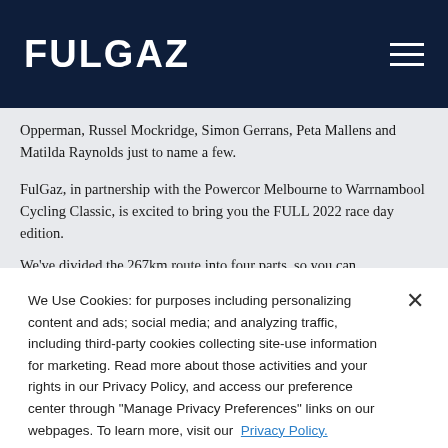FULGAZ
Opperman, Russel Mockridge, Simon Gerrans, Peta Mallens and Matilda Raynolds just to name a few.
FulGaz, in partnership with the Powercor Melbourne to Warrnambool Cycling Classic, is excited to bring you the FULL 2022 race day edition.
We've divided the 267km route into four parts, so you can
We Use Cookies: for purposes including personalizing content and ads; social media; and analyzing traffic, including third-party cookies collecting site-use information for marketing. Read more about those activities and your rights in our Privacy Policy, and access our preference center through "Manage Privacy Preferences" links on our webpages. To learn more, visit our Privacy Policy.
Manage Privacy Preferences
Accept All Cookies